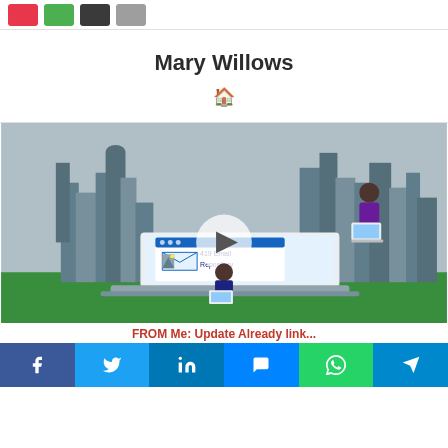[Figure (other): Top navigation bar with four colored buttons: red, green, dark gray, light gray]
Mary Willows
[Figure (illustration): Illustration of people working on laptops in front of a city skyline, with a laptop showing '419 Email Repository' and a play button overlay]
FROM Me: Update Already link...
[Figure (other): Social share bar with Facebook, Twitter, LinkedIn, Messenger, WhatsApp, and Telegram buttons]